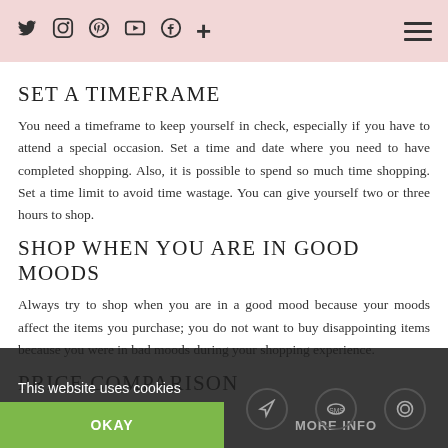Social icons and navigation menu
SET A TIMEFRAME
You need a timeframe to keep yourself in check, especially if you have to attend a special occasion. Set a time and date where you need to have completed shopping. Also, it is possible to spend so much time shopping. Set a time limit to avoid time wastage. You can give yourself two or three hours to shop.
SHOP WHEN YOU ARE IN GOOD MOODS
Always try to shop when you are in a good mood because your moods affect the items you purchase; you do not want to buy disappointing items because you were in bad moods during your shopping experience.
PRICE COMPARISON
This website uses cookies
OKAY
MORE INFO